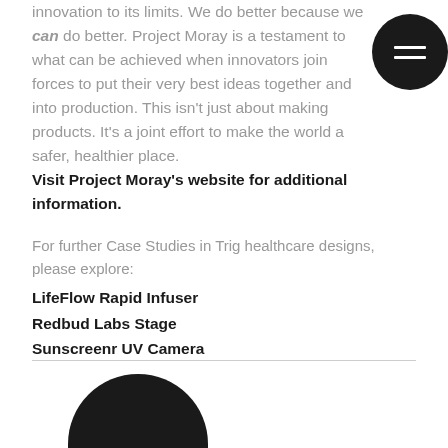innovation to its limits. We do better because we can do better. Project Moray is a testament to what can be achieved when innovators join forces to put their very best ideas together and into production. This isn't just about making products. It's a joint effort to make the world a safer, healthier place.
Visit Project Moray's website for additional information.
For further Case Studies in Trig healthcare designs, please explore:
LifeFlow Rapid Infuser
Redbud Labs Stage
Sunscreenr UV Camera